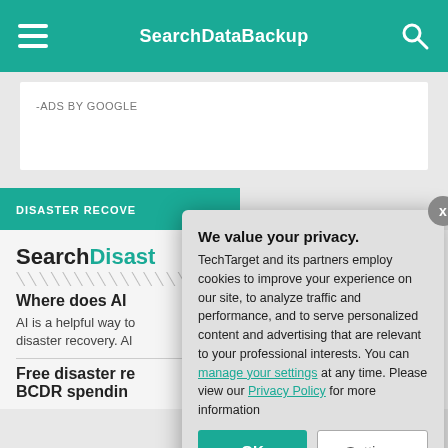SearchDataBackup
-ADS BY GOOGLE
DISASTER RECOVERY
SearchDisast...
Where does AI...
AI is a helpful way to... disaster recovery. A...
Free disaster re... BCDR spendin...
[Figure (screenshot): Privacy consent modal popup with text 'We value your privacy.' and buttons OK and Settings]
We value your privacy.
TechTarget and its partners employ cookies to improve your experience on our site, to analyze traffic and performance, and to serve personalized content and advertising that are relevant to your professional interests. You can manage your settings at any time. Please view our Privacy Policy for more information